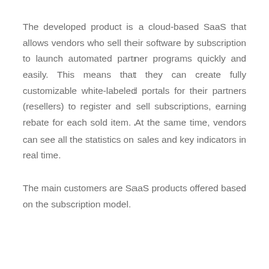The developed product is a cloud-based SaaS that allows vendors who sell their software by subscription to launch automated partner programs quickly and easily. This means that they can create fully customizable white-labeled portals for their partners (resellers) to register and sell subscriptions, earning rebate for each sold item. At the same time, vendors can see all the statistics on sales and key indicators in real time.
The main customers are SaaS products offered based on the subscription model.